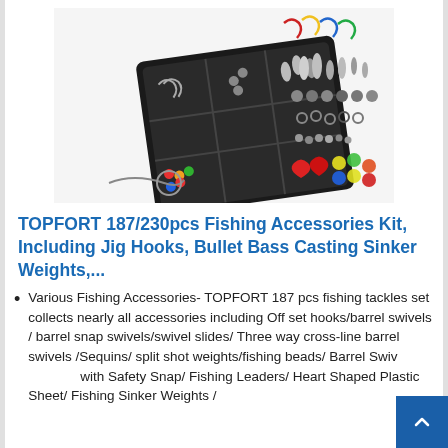[Figure (photo): A fishing accessories kit in a black tackle box, open and showing various organized compartments with hooks, swivels, sinker weights, beads, and other fishing tackle. Various loose accessories are displayed beside the box.]
TOPFORT 187/230pcs Fishing Accessories Kit, Including Jig Hooks, Bullet Bass Casting Sinker Weights,...
Various Fishing Accessories- TOPFORT 187 pcs fishing tackles set collects nearly all accessories including Off set hooks/barrel swivels / barrel snap swivels/swivel slides/ Three way cross-line barrel swivels /Sequins/ split shot weights/fishing beads/ Barrel Swivels with Safety Snap/ Fishing Leaders/ Heart Shaped Plastic Sheet/ Fishing Sinker Weights /